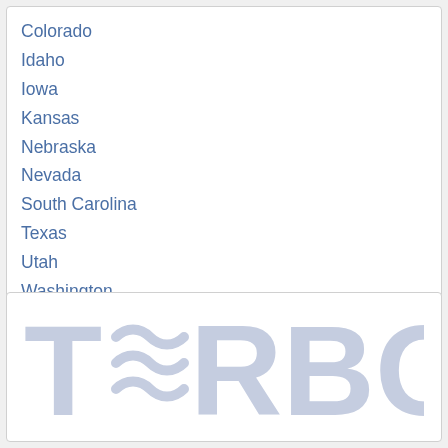Colorado
Idaho
Iowa
Kansas
Nebraska
Nevada
South Carolina
Texas
Utah
Washington
Wisconsin
[Figure (logo): TERBO logo in large light blue-grey letters with wave/tilde symbols replacing the letter E]